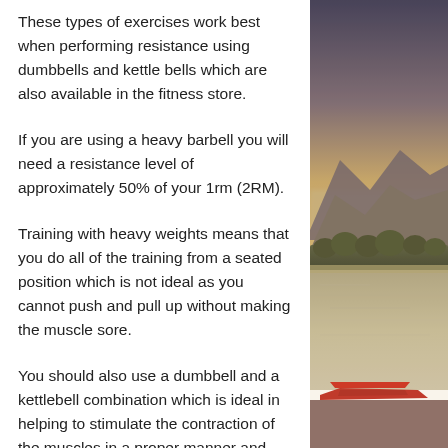These types of exercises work best when performing resistance using dumbbells and kettle bells which are also available in the fitness store.
If you are using a heavy barbell you will need a resistance level of approximately 50% of your 1rm (2RM).
Training with heavy weights means that you do all of the training from a seated position which is not ideal as you cannot push and pull up without making the muscle sore.
You should also use a dumbbell and a kettlebell combination which is ideal in helping to stimulate the contraction of the muscles in a proper manner and allow them to perform effectively.
Once you have acquired the appropriate
[Figure (photo): Outdoor landscape photo showing mountains, a lake, and a red boat in the foreground with a warm vintage filter applied.]